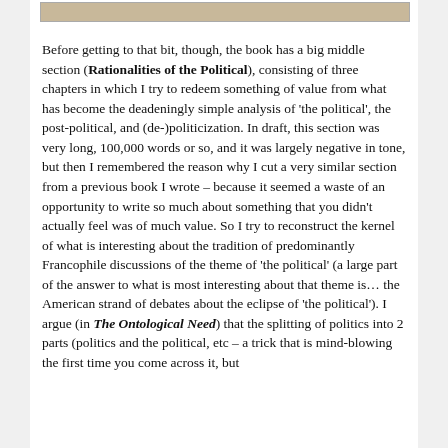[Figure (photo): Partial image visible at top of page, cropped brown/green tones]
Before getting to that bit, though, the book has a big middle section (Rationalities of the Political), consisting of three chapters in which I try to redeem something of value from what has become the deadeningly simple analysis of 'the political', the post-political, and (de-)politicization. In draft, this section was very long, 100,000 words or so, and it was largely negative in tone, but then I remembered the reason why I cut a very similar section from a previous book I wrote – because it seemed a waste of an opportunity to write so much about something that you didn't actually feel was of much value. So I try to reconstruct the kernel of what is interesting about the tradition of predominantly Francophile discussions of the theme of 'the political' (a large part of the answer to what is most interesting about that theme is… the American strand of debates about the eclipse of 'the political'). I argue (in The Ontological Need) that the splitting of politics into 2 parts (politics and the political, etc – a trick that is mind-blowing the first time you come across it, but